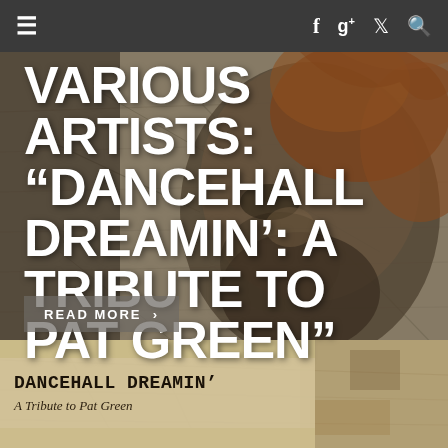Navigation bar with hamburger menu, Facebook, Google+, Twitter, Search icons
VARIOUS ARTISTS: “DANCEHALL DREAMIN’: A TRIBUTE TO PAT GREEN”
[Figure (photo): Background illustration: artistic portrait of a bearded man overlaid with vintage map imagery in muted earth tones (brown, tan, ochre) with accent colors of orange and red]
READ MORE ›
[Figure (photo): Bottom strip showing album artwork for 'Dancehall Dreamin' - A Tribute to Pat Green' with sepia/tan background and vintage map collage imagery]
DANCEHALL DREAMIN'
A Tribute to Pat Green